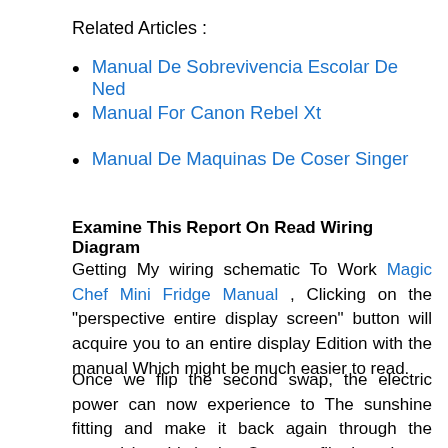Related Articles :
Manual De Sobrevivencia Escolar De Ned
Manual For Canon Rebel Xt
Manual De Maquinas De Coser Singer
Examine This Report On Read Wiring Diagram
Getting My wiring schematic To Work Magic Chef Mini Fridge Manual , Clicking on the "perspective entire display screen" button will acquire you to an entire display Edition with the manual Which might be much easier to read.
Once we flip the second swap, the electric power can now experience to The sunshine fitting and make it back again through the neutral (or white) wire. Once we flip the primary change, energy can't make it past the change and the light is off. The best